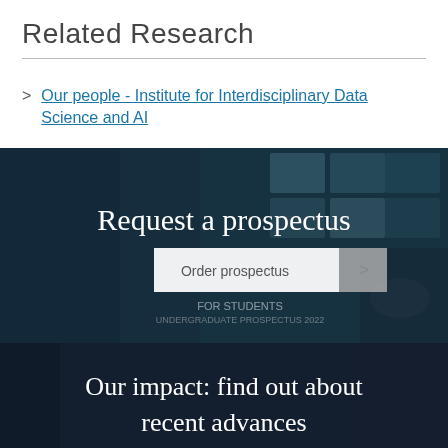Related Research
Our people - Institute for Interdisciplinary Data Science and AI
[Figure (photo): Dark banner image showing a person holding prospectus booklets, with text 'Request a prospectus' and an 'Order prospectus' button]
[Figure (photo): Dark banner image showing a person in a lab/office setting, with text 'Our impact: find out about recent advances']